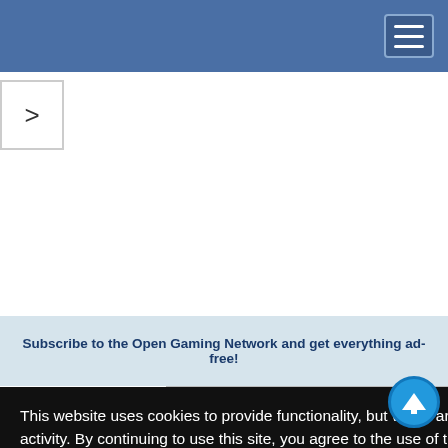[Figure (screenshot): Blue navigation bar at top of webpage with hamburger menu button on the right]
[Figure (screenshot): Navigation arrow button (>) on the left side]
Subscribe to the Open Gaming Network and get everything ad-free!
This website uses cookies to provide functionality, but which are not used to track your activity. By continuing to use this site, you agree to the use of these cookies.

However, in addition to this, you may opt into your activity being tracked in order to help us improve our service.

For more information, please click here
OK
No, thank you